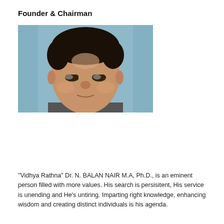Founder & Chairman
[Figure (photo): Portrait photograph of Dr. N. Balan Nair, a man wearing glasses, photographed from approximately the shoulders up against a light blue background.]
“Vidhya Rathna” Dr. N. BALAN NAIR M.A, Ph.D., is an eminent person filled with more values. His search is persisitent, His service is unending and He’s untiring. Imparting right knowledge, enhancing wisdom and creating distinct individuals is his agenda.